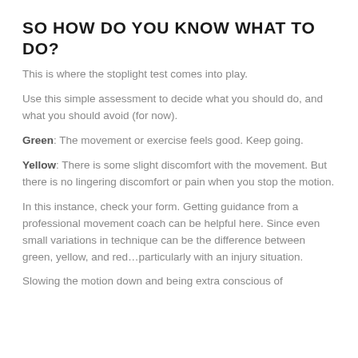SO HOW DO YOU KNOW WHAT TO DO?
This is where the stoplight test comes into play.
Use this simple assessment to decide what you should do, and what you should avoid (for now).
Green: The movement or exercise feels good. Keep going.
Yellow: There is some slight discomfort with the movement. But there is no lingering discomfort or pain when you stop the motion.
In this instance, check your form. Getting guidance from a professional movement coach can be helpful here. Since even small variations in technique can be the difference between green, yellow, and red…particularly with an injury situation.
Slowing the motion down and being extra conscious of...